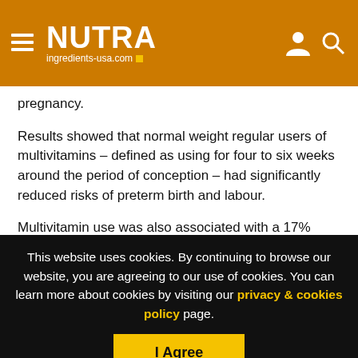NUTRA ingredients-usa.com
pregnancy.
Results showed that normal weight regular users of multivitamins – defined as using for four to six weeks around the period of conception – had significantly reduced risks of preterm birth and labour.
Multivitamin use was also associated with a 17% reduction in the risk of giving birth to underweight babies, relative to the gestation period.
This website uses cookies. By continuing to browse our website, you are agreeing to our use of cookies. You can learn more about cookies by visiting our privacy & cookies policy page.
I Agree